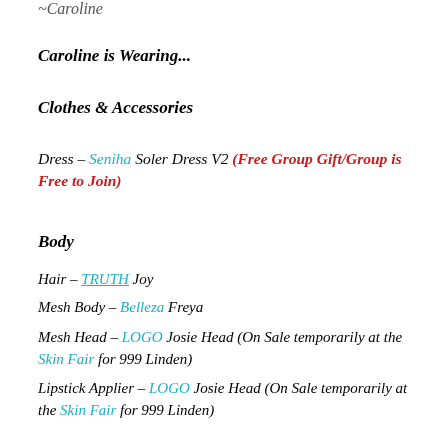~Caroline
Caroline is Wearing...
Clothes & Accessories
Dress – Seniha Soler Dress V2 (Free Group Gift/Group is Free to Join)
Body
Hair – TRUTH Joy
Mesh Body – Belleza Freya
Mesh Head – LOGO Josie Head (On Sale temporarily at the Skin Fair for 999 Linden)
Lipstick Applier – LOGO Josie Head (On Sale temporarily at the Skin Fair for 999 Linden)
Eyeshadow Applier – LOGO Josie Head (On Sale temporarily at the Skin Fair for 999 Linden)
Skin – Ritual Skins Elspeth Genus Phyrra Browless (BOM) –